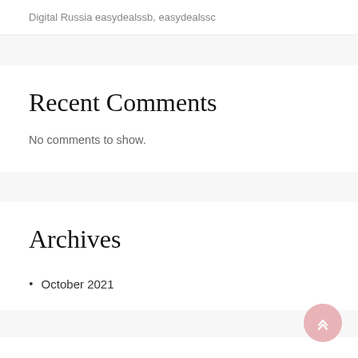Digital Russia easydealssb, easydealssc
Recent Comments
No comments to show.
Archives
October 2021
Categories